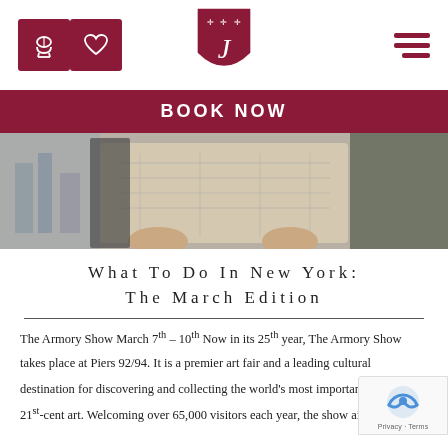[phone icon] [heart icon] [F shield logo] [hamburger menu]
BOOK NOW
[Figure (photo): Person holding a map in an urban setting, city street visible in background]
What To Do In New York: The March Edition
The Armory Show March 7th – 10th Now in its 25th year, The Armory Show takes place at Piers 92/94. It is a premier art fair and a leading cultural destination for discovering and collecting the world's most important 20th- and 21st-cent art. Welcoming over 65,000 visitors each year, the show aims